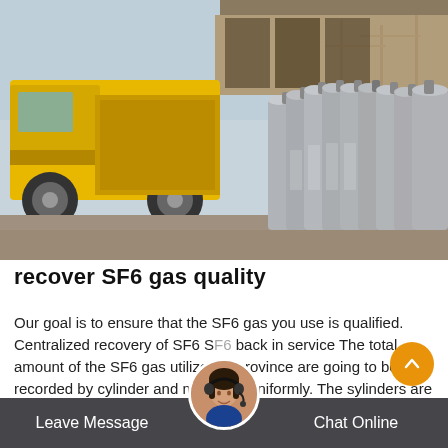[Figure (photo): Industrial scene showing a yellow utility truck and rows of gray SF6 gas cylinders at an electrical substation with power lines and structures in the background.]
recover SF6 gas quality
Our goal is to ensure that the SF6 gas you use is qualified. Centralized recovery of SF6 S[F6] back in service The total amount of the SF6 gas utilized [in] province are going to be recorded by cylinder and mangaed uniformly. The sylinders are
Leave Message   Chat Online